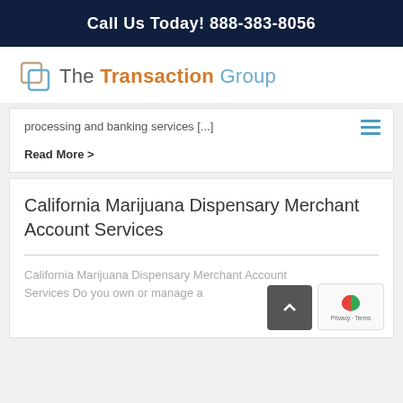Call Us Today! 888-383-8056
[Figure (logo): The Transaction Group logo with icon and text]
processing and banking services [...]
Read More >
California Marijuana Dispensary Merchant Account Services
California Marijuana Dispensary Merchant Account Services Do you own or manage a